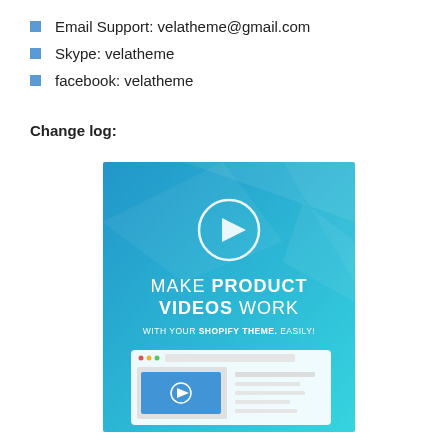Email Support: velatheme@gmail.com
Skype: velatheme
facebook: velatheme
Change log:
[Figure (screenshot): Promotional banner for a Shopify product video plugin. Blue gradient background with a play button circle at top, text reading MAKE PRODUCT VIDEOS WORK WITH YOUR SHOPIFY THEME. EASILY!, and a browser mockup showing a video player at the bottom.]